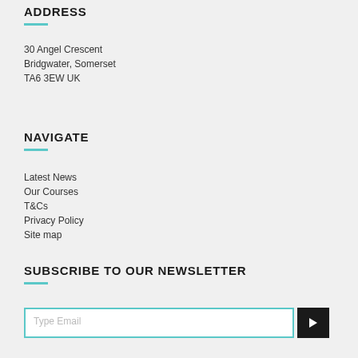ADDRESS
30 Angel Crescent
Bridgwater, Somerset
TA6 3EW UK
NAVIGATE
Latest News
Our Courses
T&Cs
Privacy Policy
Site map
SUBSCRIBE TO OUR NEWSLETTER
Type Email